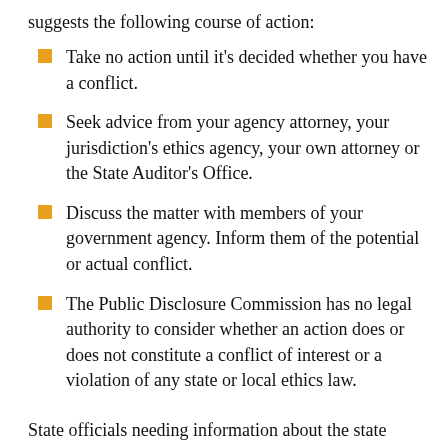suggests the following course of action:
Take no action until it's decided whether you have a conflict.
Seek advice from your agency attorney, your jurisdiction's ethics agency, your own attorney or the State Auditor's Office.
Discuss the matter with members of your government agency. Inform them of the potential or actual conflict.
The Public Disclosure Commission has no legal authority to consider whether an action does or does not constitute a conflict of interest or a violation of any state or local ethics law.
State officials needing information about the state Ethics Law are reminded that PDC has no authority to advise them regarding the acceptability of gifts